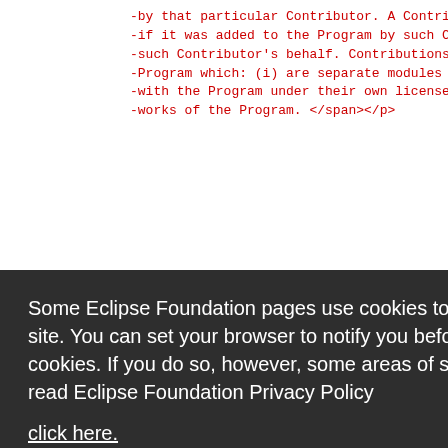-by that particular Contributor. A Contribution
-if it was added to the Program by such Contribu
-such Contributor's behalf. Contributions do not
-Program which: (i) are separate modules of softw
-with the Program under their own license agreeme
-works of the Program. </span></p>
:Contribu
pan> </p>
:Licensed
n are ned
en combin
:Program&
eement.</
:Recipien
nt, inclu
GRANT OF
Some Eclipse Foundation pages use cookies to better serve you when you return to the site. You can set your browser to notify you before you receive a cookie or turn off cookies. If you do so, however, some areas of some sites may not function properly. To read Eclipse Foundation Privacy Policy
click here.
Decline
Allow cookies
<p class='MsoNormal Style' margin-left:1.5in'><spa
Subject to the terms of this Agreement, each